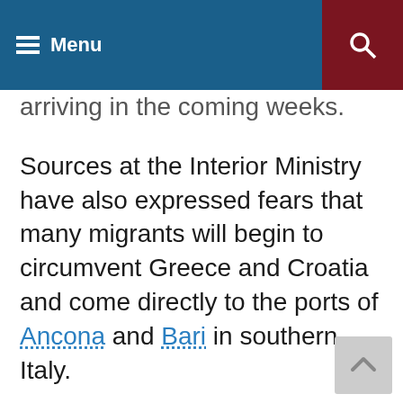Menu
arriving in the coming weeks. Sources at the Interior Ministry have also expressed fears that many migrants will begin to circumvent Greece and Croatia and come directly to the ports of Ancona and Bari in southern Italy.
Meanwhile, Prime Minister Matteo Renzi is wringing his hands in public, insisting that the end of